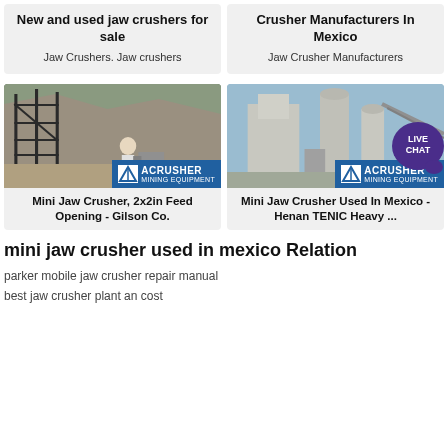New and used jaw crushers for sale
Jaw Crushers. Jaw crushers
Crusher Manufacturers In Mexico
Jaw Crusher Manufacturers
[Figure (photo): Mining site with scaffolding and a person, ACRUSHER Mining Equipment banner]
Mini Jaw Crusher, 2x2in Feed Opening - Gilson Co.
[Figure (photo): Industrial factory with silos and conveyors, ACRUSHER Mining Equipment banner]
Mini Jaw Crusher Used In Mexico - Henan TENIC Heavy ...
mini jaw crusher used in mexico Relation
parker mobile jaw crusher repair manual
best jaw crusher plant an cost